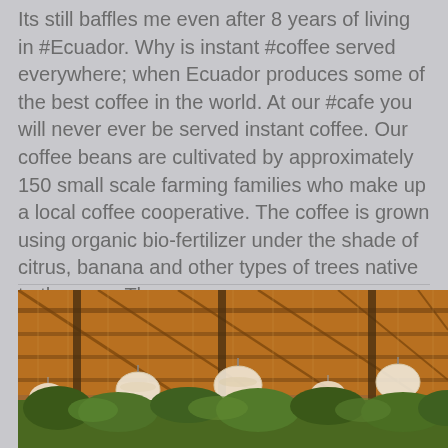Its still baffles me even after 8 years of living in #Ecuador. Why is instant #coffee served everywhere; when Ecuador produces some of the best coffee in the world. At our #cafe you will never ever be served instant coffee. Our coffee beans are cultivated by approximately 150 small scale farming families who make up a local coffee cooperative. The coffee is grown using organic bio-fertilizer under the shade of citrus, banana and other types of trees native to the area. The co
[Figure (photo): Interior photo of a thatched roof open-air pavilion with wooden beams and hanging white lantern lights, green foliage visible at the bottom]